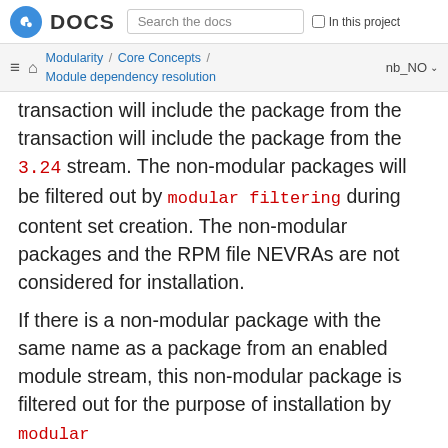DOCS | Search the docs | In this project
Modularity / Core Concepts / Module dependency resolution | nb_NO
transaction will include the package from the 3.24 stream. The non-modular packages will be filtered out by modular filtering during content set creation. The non-modular packages and the RPM file NEVRAs are not considered for installation.
If there is a non-modular package with the same name as a package from an enabled module stream, this non-modular package is filtered out for the purpose of installation by modular filtering. Modular filtering guarantees that the correct packages are chosen for the DNF content set creation and for the following installation to your